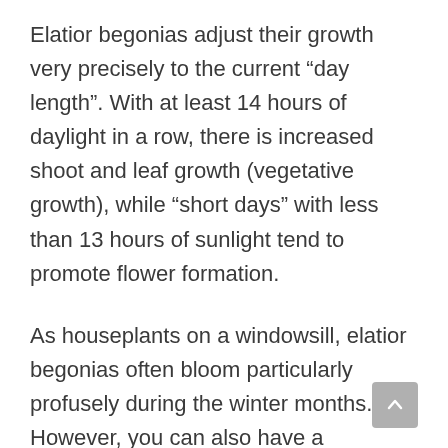Elatior begonias adjust their growth very precisely to the current “day length”. With at least 14 hours of daylight in a row, there is increased shoot and leaf growth (vegetative growth), while “short days” with less than 13 hours of sunlight tend to promote flower formation.
As houseplants on a windowsill, elatior begonias often bloom particularly profusely during the winter months. However, you can also have a regulating